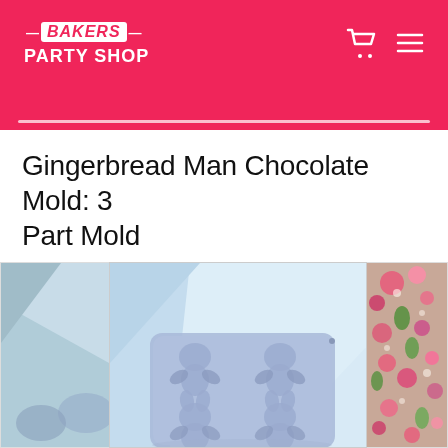Bakers Party Shop
Gingerbread Man Chocolate Mold: 3 Part Mold
[Figure (photo): Product image of a blue/lavender silicone gingerbread man chocolate mold tray with multiple gingerbread man shaped cavities, displayed against a light blue geometric background]
[Figure (photo): Partial view of a second product image showing colorful floral/festive decorations on the right side]